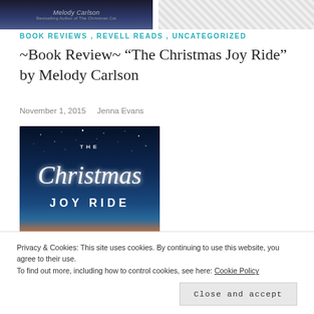[Figure (photo): Top portion of a book cover showing an author name (partially visible) and 'Bestselling Author of The Christmas Cat' subtitle, dark navy background. Right portion is a gray hatched placeholder area.]
BOOK REVIEWS , REVELL READS , UNCATEGORIZED
~Book Review~ “The Christmas Joy Ride” by Melody Carlson
November 1, 2015   Jenna Evans
[Figure (photo): Book cover of 'The Christmas Joy Ride' by Melody Carlson. Dark navy/blue starry sky background, script title 'Christmas' in glowing white cursive, 'THE' in small caps above, 'JOY RIDE' in bold white letters below, warm orange/red lower portion of cover.]
Privacy & Cookies: This site uses cookies. By continuing to use this website, you agree to their use.
To find out more, including how to control cookies, see here: Cookie Policy
Close and accept